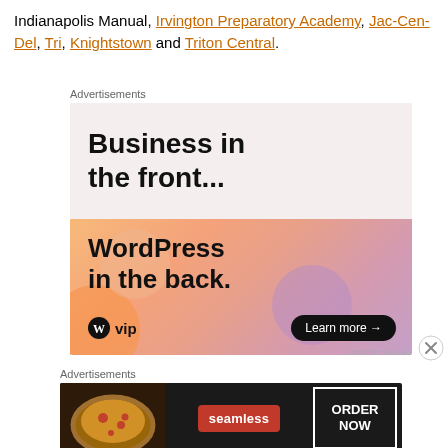Indianapolis Manual, Irvington Preparatory Academy, Jac-Cen-Del, Tri, Knightstown and Triton Central.
Advertisements
[Figure (illustration): WordPress VIP advertisement. Top half: white/light pink background with bold text 'Business in the front...'. Bottom half: gradient orange/pink/purple background with bold text 'WordPress in the back.' and WordPress VIP logo on the left, 'Learn more →' button on the right.]
REPORT THIS AD
Advertisements
[Figure (illustration): Seamless food delivery advertisement. Dark background with pizza image on the left, Seamless red badge in the center, and 'ORDER NOW' in white bordered box on the right.]
REPORT THIS AD